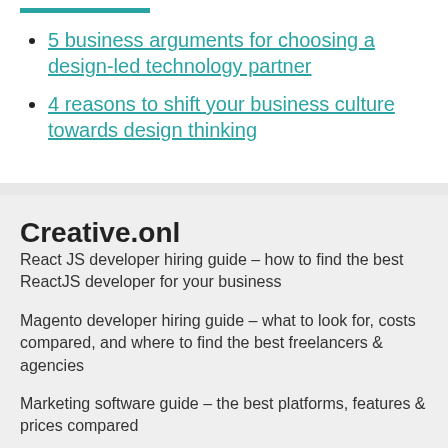5 business arguments for choosing a design-led technology partner
4 reasons to shift your business culture towards design thinking
Creative.onl
React JS developer hiring guide – how to find the best ReactJS developer for your business
Magento developer hiring guide – what to look for, costs compared, and where to find the best freelancers & agencies
Marketing software guide – the best platforms, features & prices compared